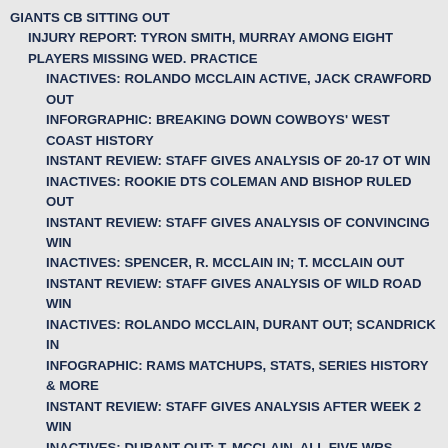GIANTS CB SITTING OUT
INJURY REPORT: TYRON SMITH, MURRAY AMONG EIGHT PLAYERS MISSING WED. PRACTICE
INACTIVES: ROLANDO MCCLAIN ACTIVE, JACK CRAWFORD OUT
INFORGRAPHIC: BREAKING DOWN COWBOYS' WEST COAST HISTORY
INSTANT REVIEW: STAFF GIVES ANALYSIS OF 20-17 OT WIN
INACTIVES: ROOKIE DTS COLEMAN AND BISHOP RULED OUT
INSTANT REVIEW: STAFF GIVES ANALYSIS OF CONVINCING WIN
INACTIVES: SPENCER, R. MCCLAIN IN; T. MCCLAIN OUT
INSTANT REVIEW: STAFF GIVES ANALYSIS OF WILD ROAD WIN
INACTIVES: ROLANDO MCCLAIN, DURANT OUT; SCANDRICK IN
INFOGRAPHIC: RAMS MATCHUPS, STATS, SERIES HISTORY & MORE
INSTANT REVIEW: STAFF GIVES ANALYSIS AFTER WEEK 2 WIN
INACTIVES: DURANT OUT; T. MCCLAIN, ALL FIVE WRS ACTIVE
INFOGRAPHIC: TITANS MATCHUPS, STATS, SERIES HISTORY & MORE
INSTANT REVIEW: STAFF GIVES ANALYSIS AFTER 28-17 LOSS
INACTIVES: NO MAJOR SURPRISES; MARTIN, WILLIAMS ACTIVE
INFOGRAPHIC: INSIDE LOOK AT COWBOYS' 53-MAN ROSTER
INJURY UPDATES FOR SELVIE, T. MCCLAIN, CLAIBORNE & MORE
INJURED CB WAIVED; COWBOYS SIGN DT MINTER FOR DEPTH
IRVIN & DEZ: A BIRTHDAY LOOK BACK AT THE FIRST 3 YEARS
INSTANT REVIEW: STAFF ANALYZES SEATTLE'S SB WIN
IF ANY COACHING CHANGES OCCUR, THEY'LL LIKELY HAPPEN THIS